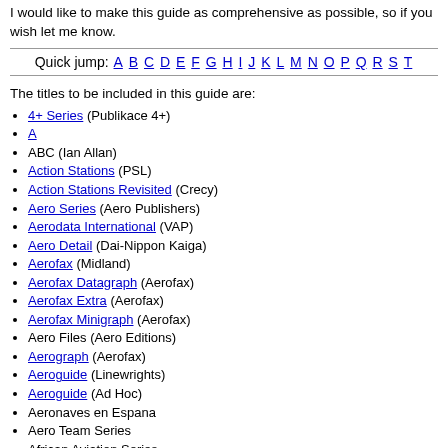I would like to make this guide as comprehensive as possible, so if you wish let me know.
Quick jump: A B C D E F G H I J K L M N O P Q R S T
The titles to be included in this guide are:
4+ Series (Publikace 4+)
A
ABC (Ian Allan)
Action Stations (PSL)
Action Stations Revisited (Crecy)
Aero Series (Aero Publishers)
Aerodata International (VAP)
Aero Detail (Dai-Nippon Kaiga)
Aerofax (Midland)
Aerofax Datagraph (Aerofax)
Aerofax Extra (Aerofax)
Aerofax Minigraph (Aerofax)
Aero Files (Aero Editions)
Aerograph (Aerofax)
Aeroguide (Linewrights)
Aeroguide (Ad Hoc)
Aeronaves en Espana
Aero Team Series
African Aviation Series
Aircam Aviation Series (Osprey)
Aircam/Airwar (Osprey)
Aircraft Illustrated Special (Ian Allan)